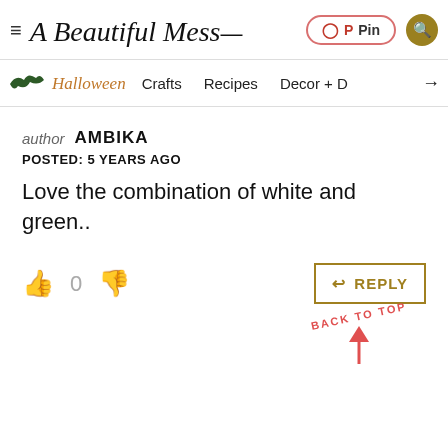≡ A Beautiful Mess — Pin | Search
🦇 Halloween   Crafts   Recipes   Decor + →
author AMBIKA
POSTED: 5 YEARS AGO
Love the combination of white and green..
👍 0 👎  REPLY
BACK TO TOP ↑